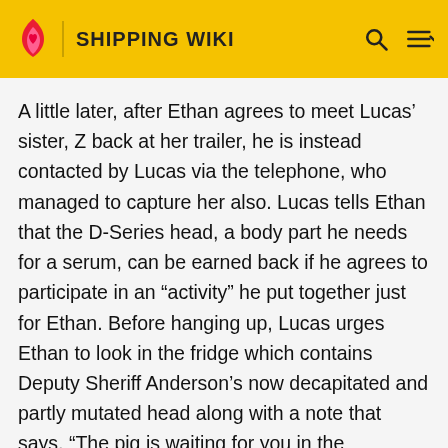SHIPPING WIKI
A little later, after Ethan agrees to meet Lucas' sister, Z back at her trailer, he is instead contacted by Lucas via the telephone, who managed to capture her also. Lucas tells Ethan that the D-Series head, a body part he needs for a serum, can be earned back if he agrees to participate in an “activity” he put together just for Ethan. Before hanging up, Lucas urges Ethan to look in the fridge which contains Deputy Sheriff Anderson’s now decapitated and partly mutated head along with a note that says, “The pig is waiting for you in the dissection room, bitch”. Ethan backtracks for the dissection room in the main house, and finds the body of the beheaded Anderson with a sign saying “Prove you’re a real man and stick your hand down this pig’s throat!”. He reluctantly